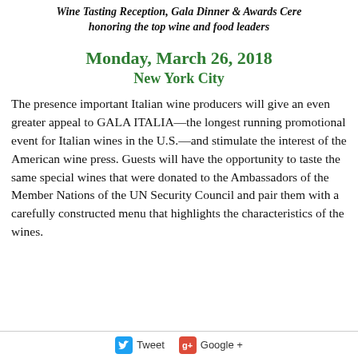Wine Tasting Reception, Gala Dinner & Awards Ceremony honoring the top wine and food leaders
Monday, March 26, 2018
New York City
The presence important Italian wine producers will give an even greater appeal to GALA ITALIA—the longest running promotional event for Italian wines in the U.S.—and stimulate the interest of the American wine press. Guests will have the opportunity to taste the same special wines that were donated to the Ambassadors of the Member Nations of the UN Security Council and pair them with a carefully constructed menu that highlights the characteristics of the wines.
Tweet   Google+